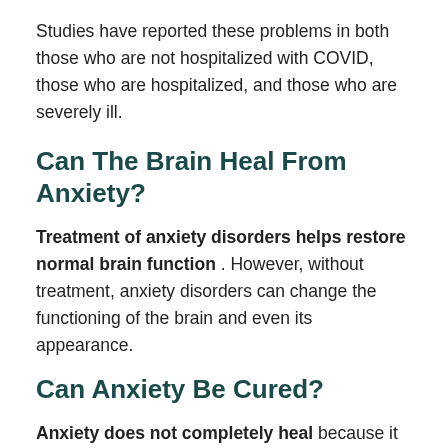Studies have reported these problems in both those who are not hospitalized with COVID, those who are hospitalized, and those who are severely ill.
Can The Brain Heal From Anxiety?
Treatment of anxiety disorders helps restore normal brain function. However, without treatment, anxiety disorders can change the functioning of the brain and even its appearance.
Can Anxiety Be Cured?
Anxiety does not completely heal because it is